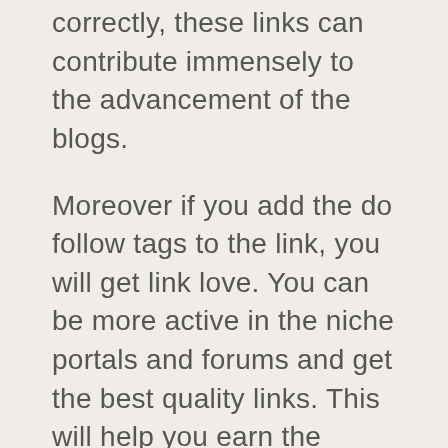correctly, these links can contribute immensely to the advancement of the blogs.
Moreover if you add the do follow tags to the link, you will get link love. You can be more active in the niche portals and forums and get the best quality links. This will help you earn the targeted web traffic to your page.
There are certain forums in Google that can help you stay active and gather the links and the targeted audience that you need. You need to register yourself in these forums and use the link to your site or blog